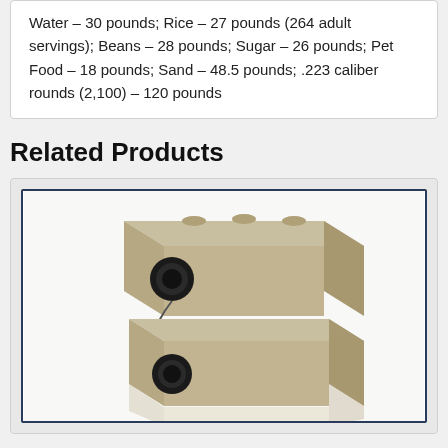Water – 30 pounds; Rice – 27 pounds (264 adult servings); Beans – 28 pounds; Sugar – 26 pounds; Pet Food – 18 pounds; Sand – 48.5 pounds; .223 caliber rounds (2,100) – 120 pounds
Related Products
[Figure (photo): Photo of a tan/beige stackable water storage container with black cap, shown from a slight angle, with a reflection below.]